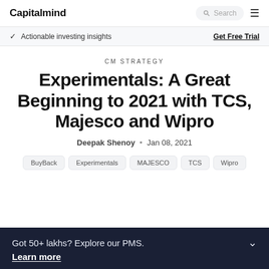Capitalmind
✓ Actionable investing insights   Get Free Trial
CM STRATEGY
Experimentals: A Great Beginning to 2021 with TCS, Majesco and Wipro
Deepak Shenoy · Jan 08, 2021
BuyBack
Experimentals
MAJESCO
TCS
Wipro
Got 50+ lakhs? Explore our PMS. Learn more